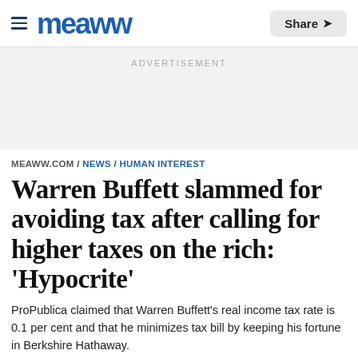meaww | Share
ADVERTISEMENT
MEAWW.COM / NEWS / HUMAN INTEREST
Warren Buffett slammed for avoiding tax after calling for higher taxes on the rich: 'Hypocrite'
ProPublica claimed that Warren Buffett's real income tax rate is 0.1 per cent and that he minimizes tax bill by keeping his fortune in Berkshire Hathaway.